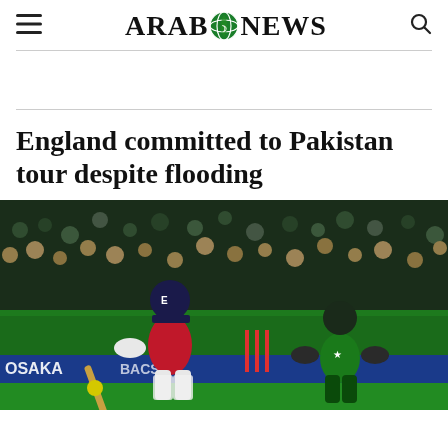Arab News
England committed to Pakistan tour despite flooding
[Figure (photo): England cricket batsman in red uniform playing a shot, with Pakistan wicket-keeper in green uniform crouching behind the stumps, during a T20 night match with stadium crowd in background]